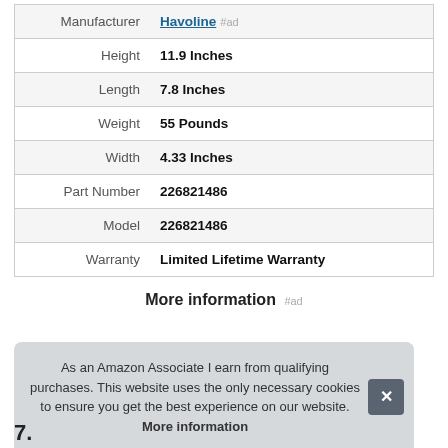| Attribute | Value |
| --- | --- |
| Manufacturer | Havoline #ad |
| Height | 11.9 Inches |
| Length | 7.8 Inches |
| Weight | 55 Pounds |
| Width | 4.33 Inches |
| Part Number | 226821486 |
| Model | 226821486 |
| Warranty | Limited Lifetime Warranty |
More information #ad
As an Amazon Associate I earn from qualifying purchases. This website uses the only necessary cookies to ensure you get the best experience on our website. More information